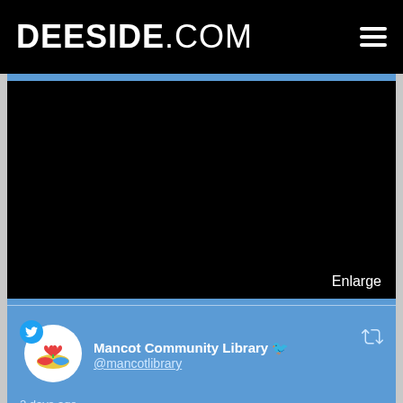DEESIDE.COM
[Figure (other): Black media/video embed area with Enlarge button in lower right]
Enlarge
[Figure (other): Mancot Community Library Twitter/social media card showing avatar with heart-book logo, Twitter bird badge, account name and handle @mancotlibrary, retweet icon, and timestamp '2 days ago']
Mancot Community Library 🐦 @mancotlibrary
2 days ago